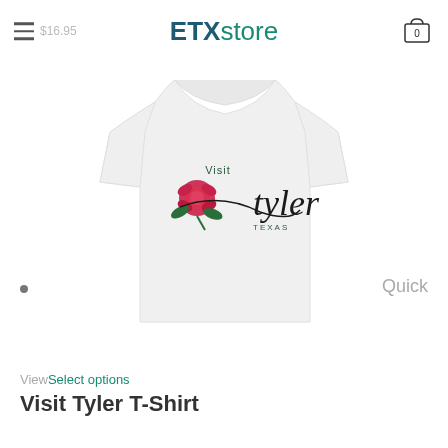ETXstore
[Figure (photo): White t-shirt with Visit Tyler Texas rose logo printed on the chest, displayed on a white background]
Quick
ViewSelect options
Visit Tyler T-Shirt